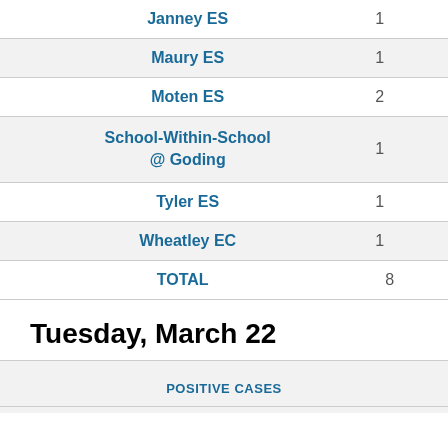| School | Count |
| --- | --- |
| Janney ES | 1 |
| Maury ES | 1 |
| Moten ES | 2 |
| School-Within-School @ Goding | 1 |
| Tyler ES | 1 |
| Wheatley EC | 1 |
| TOTAL | 8 |
Tuesday, March 22